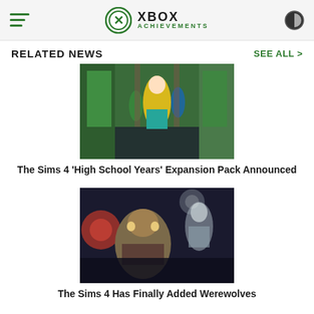XBOX ACHIEVEMENTS
RELATED NEWS
[Figure (screenshot): Screenshot from The Sims 4 High School Years showing animated characters in a school hallway with lockers]
The Sims 4 'High School Years' Expansion Pack Announced
[Figure (screenshot): Screenshot from The Sims 4 werewolves showing a werewolf character lunging forward with a misty background]
The Sims 4 Has Finally Added Werewolves